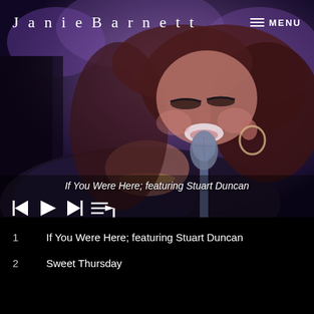[Figure (photo): Woman singing into a microphone on stage with purple/blue stage lighting, wearing dark floral clothing and hoop earrings, red/brown hair, head tilted back]
JanieBarnett     MENU
If You Were Here; featuring Stuart Duncan
1    If You Were Here; featuring Stuart Duncan
2    Sweet Thursday